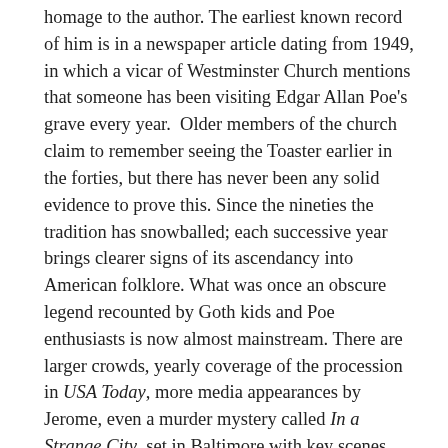homage to the author. The earliest known record of him is in a newspaper article dating from 1949, in which a vicar of Westminster Church mentions that someone has been visiting Edgar Allan Poe's grave every year.  Older members of the church claim to remember seeing the Toaster earlier in the forties, but there has never been any solid evidence to prove this. Since the nineties the tradition has snowballed; each successive year brings clearer signs of its ascendancy into American folklore. What was once an obscure legend recounted by Goth kids and Poe enthusiasts is now almost mainstream. There are larger crowds, yearly coverage of the procession in USA Today, more media appearances by Jerome, even a murder mystery called In a Strange City, set in Baltimore with key scenes involving the Toaster himself.